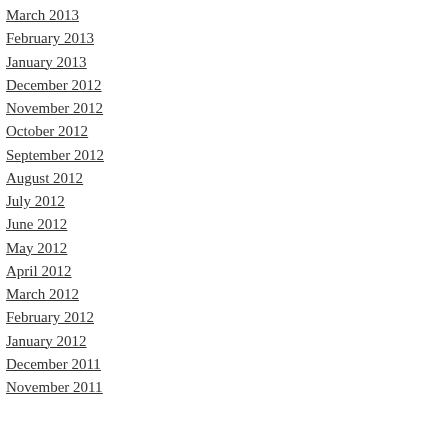March 2013
February 2013
January 2013
December 2012
November 2012
October 2012
September 2012
August 2012
July 2012
June 2012
May 2012
April 2012
March 2012
February 2012
January 2012
December 2011
November 2011